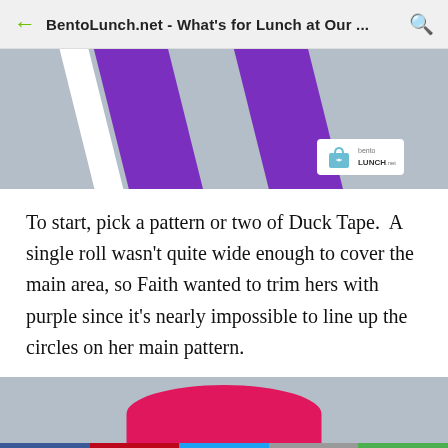BentoLunch.net - What's for Lunch at Our ...
[Figure (photo): Purple and white duck tape rolls/strips on a gray surface, with BentoLunch.net logo badge in the lower right]
To start, pick a pattern or two of Duck Tape.  A single roll wasn't quite wide enough to cover the main area, so Faith wanted to trim hers with purple since it's nearly impossible to line up the circles on her main pattern.
[Figure (photo): Pink rounded shape (duck tape roll) on a gray surface, partially visible at bottom of page]
Social share bar: Facebook, Pinterest (1), Twitter, Email, More